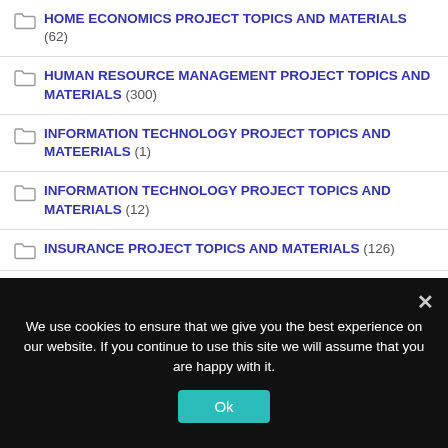HOME ECONOMICS PROJECT TOPICS AND MATERIALS (62)
HUMAN RESOURCE MANAGEMENT PROJECT TOPICS AND MATERIALS (300)
INFORMATION TECHNOLOGY PROJECT TOPICS AND MATEERIALS (1)
INFORMATION TECHNOLOGY PROJECT TOPICS AND MATERIALS (12)
INSURANCE PROJECT TOPICS AND MATERIALS (126)
INTEGRATED SCIENCE EDUCATION PROJECT TOPICS AND MATERIALS (3)
INTERNATIONAL RELATIONS/HISTORY/DIPLOMACY PROJECT TOPICS AND MATERIALS (63)
ISLAMIC AND ARABIC STUDIES PROJECT TOPICS AND
We use cookies to ensure that we give you the best experience on our website. If you continue to use this site we will assume that you are happy with it.